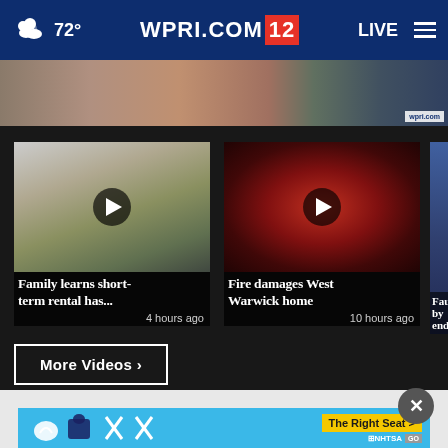72° WPRI.COM 12 LIVE
[Figure (screenshot): Hero image strip showing exterior of buildings, partial news footage]
[Figure (screenshot): Video thumbnail: house exterior with play button overlay. Title: Family learns short-term rental has... 4 hours ago]
[Figure (screenshot): Video thumbnail: fire scene with red lighting and play button overlay. Title: Fire damages West Warwick home. 10 hours ago]
[Figure (screenshot): Partial video card: Fauci by end...]
More Videos ▶
[Figure (screenshot): Advertisement banner: The Right Seat > NHTSA car seat safety icons on cyan background]